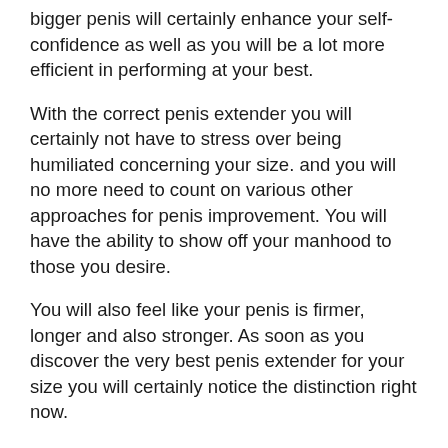bigger penis will certainly enhance your self-confidence as well as you will be a lot more efficient in performing at your best.
With the correct penis extender you will certainly not have to stress over being humiliated concerning your size. and you will no more need to count on various other approaches for penis improvement. You will have the ability to show off your manhood to those you desire.
You will also feel like your penis is firmer, longer and also stronger. As soon as you discover the very best penis extender for your size you will certainly notice the distinction right now.